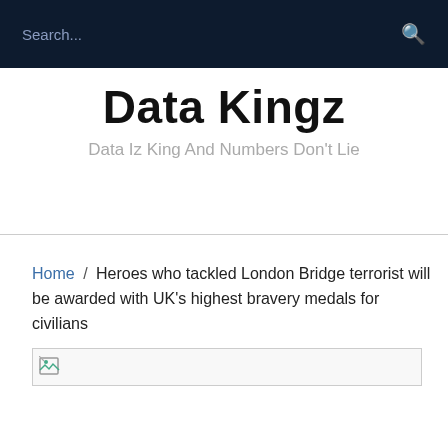Search...
Data Kingz
Data Iz King And Numbers Don't Lie
Home / Heroes who tackled London Bridge terrorist will be awarded with UK's highest bravery medals for civilians
[Figure (photo): Broken image placeholder]